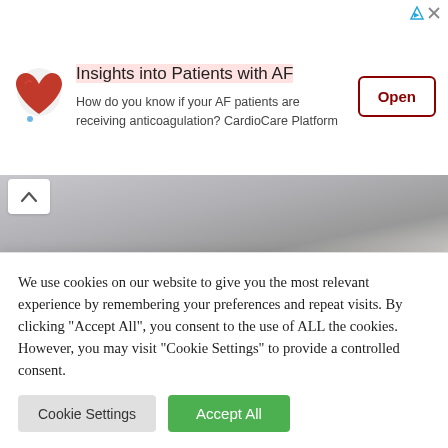[Figure (infographic): Advertisement banner with heart icon, title 'Insights into Patients with AF', description text about anticoagulation and CardioCare Platform, and an Open button]
[Figure (photo): Partial photo of a person in white coat, cropped, with a chevron/up-arrow navigation button overlay]
Visual Perception for Autistic Children
June 29, 2022  /  dulce
We use cookies on our website to give you the most relevant experience by remembering your preferences and repeat visits. By clicking "Accept All", you consent to the use of ALL the cookies. However, you may visit "Cookie Settings" to provide a controlled consent.